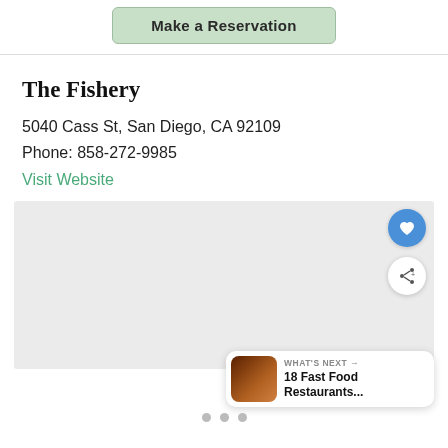[Figure (other): Make a Reservation button (green/sage background, bold text)]
The Fishery
5040 Cass St, San Diego, CA 92109
Phone: 858-272-9985
Visit Website
[Figure (photo): Gray placeholder image area for restaurant photos with favorite (heart) button and share button overlaid. Also shows 'WHAT'S NEXT' card: 18 Fast Food Restaurants...]
[Figure (other): Dot pagination indicators (three dots)]